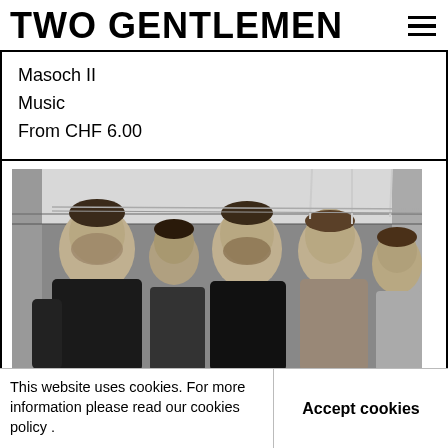TWO GENTLEMEN
Masoch II
Music
From CHF 6.00
[Figure (photo): Black and white photo of four young men standing close together in what appears to be a backstage or industrial corridor. One man on the left wears a dark jacket, the others are in casual clothes. They pose looking at the camera.]
This website uses cookies. For more information please read our cookies policy .
Accept cookies